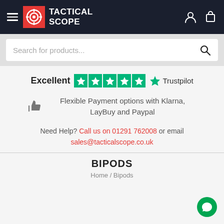Tactical Scope — navigation header with hamburger menu, logo, user and cart icons
Search for products...
Excellent ★★★★★ Trustpilot
Flexible Payment options with Klarna, LayBuy and Paypal
Need Help? Call us on 01291 762008 or email sales@tacticalscope.co.uk
BIPODS
Home / Bipods